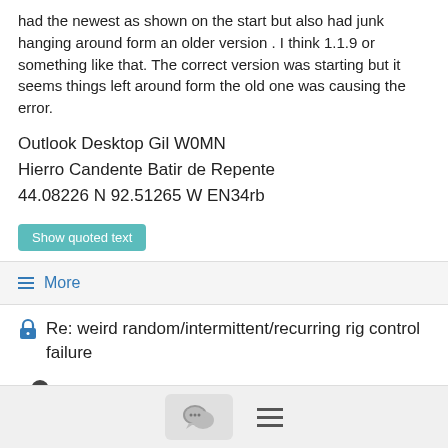had the newest as shown on the start but also had junk hanging around form an older version . I think 1.1.9 or something like that. The correct version was starting but it seems things left around form the old one was causing the error.
Outlook Desktop Gil W0MN
Hierro Candente Batir de Repente
44.08226 N 92.51265 W EN34rb
Show quoted text
≡ More
🔒 Re: weird random/intermittent/recurring rig control failure
andypdanp@...
1/05/20